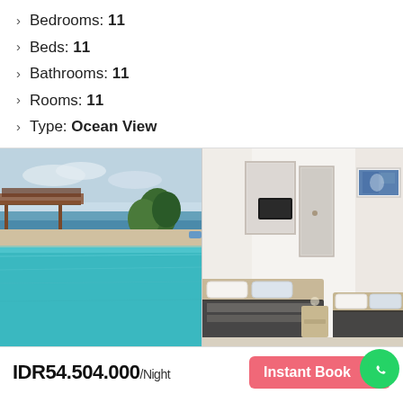Bedrooms: 11
Beds: 11
Bathrooms: 11
Rooms: 11
Type: Ocean View
[Figure (photo): Two property photos side by side: left shows an infinity pool with ocean view and pavilion, right shows a bright white bedroom with two beds and artwork]
IDR54.504.000/Night
Instant Book